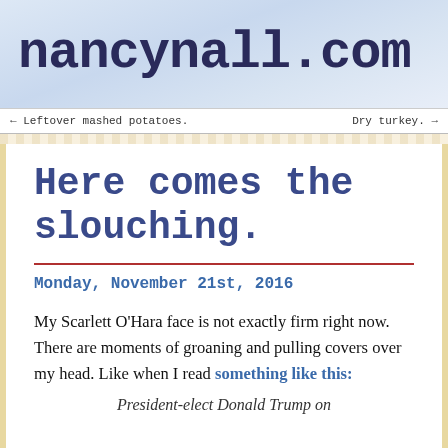nancynall.com
← Leftover mashed potatoes.    Dry turkey. →
Here comes the slouching.
Monday, November 21st, 2016
My Scarlett O'Hara face is not exactly firm right now. There are moments of groaning and pulling covers over my head. Like when I read something like this:
President-elect Donald Trump on